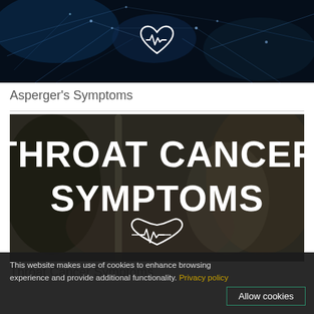[Figure (photo): Dark neural network background image with glowing blue electric lines and a white heart with ECG line icon in the center]
Asperger's Symptoms
[Figure (photo): Dark medical photo background with bold white text reading THROAT CANCER SYMPTOMS and a white heart with ECG line icon below]
Throat Cancer Symptoms
This website makes use of cookies to enhance browsing experience and provide additional functionality. Privacy policy
Allow cookies